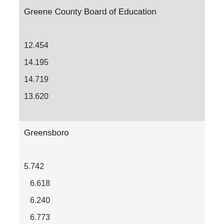Greene County Board of Education
12.454
14.195
14.719
13.620
Greensboro
5.742
6.618
6.240
6.773